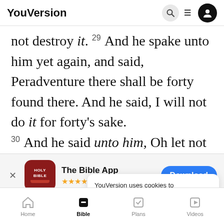YouVersion
not destroy it. 29 And he spake unto him yet again, and said, Peradventure there shall be forty found there. And he said, I will not do it for forty's sake. 30 And he said unto him, Oh let not the Lord be
[Figure (screenshot): App store banner for 'The Bible App' with Holy Bible icon, 5 star rating, 7.9M reviews, and a blue Download button]
irty there.   And he said, Behold now,   e
taken u
YouVersion uses cookies to personalize your experience. By using our website, you accept our use of cookies as described in our Privacy Policy.
Peradv
Home  Bible  Plans  Videos